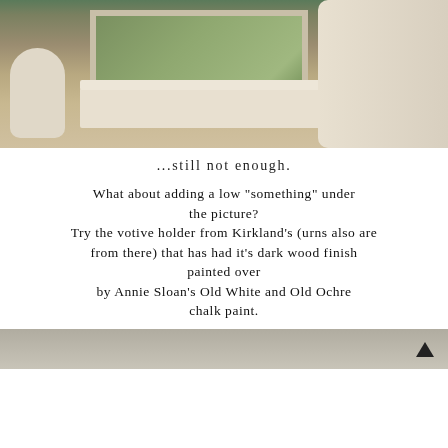[Figure (photo): Interior room photo showing a white decorative animal head sculpture (stag/bull mount) on a tan wall, with a white ornate picture frame/mantle below it and a white urn with branches on the left side.]
...still not enough.
What about adding a low "something" under the picture? Try the votive holder from Kirkland's (urns also are from there) that has had it's dark wood finish painted over by Annie Sloan's Old White and Old Ochre chalk paint.
[Figure (photo): Bottom portion of another interior photo showing a gray/neutral toned scene with branch-like elements visible.]